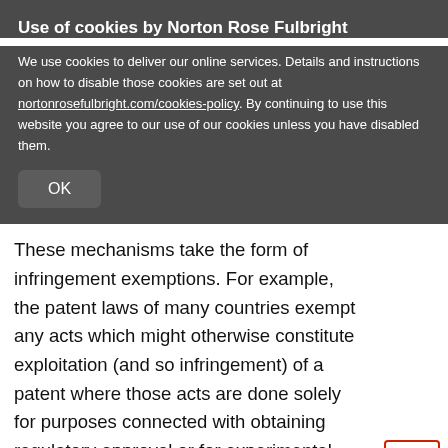Use of cookies by Norton Rose Fulbright
We use cookies to deliver our online services. Details and instructions on how to disable those cookies are set out at nortonrosefulbright.com/cookies-policy. By continuing to use this website you agree to our use of our cookies unless you have disabled them.
OK
These mechanisms take the form of infringement exemptions. For example, the patent laws of many countries exempt any acts which might otherwise constitute exploitation (and so infringement) of a patent where those acts are done solely for purposes connected with obtaining regulatory approval or for experimental purposes. Critically, this means
Social share icons: LinkedIn, Twitter, Facebook, Print